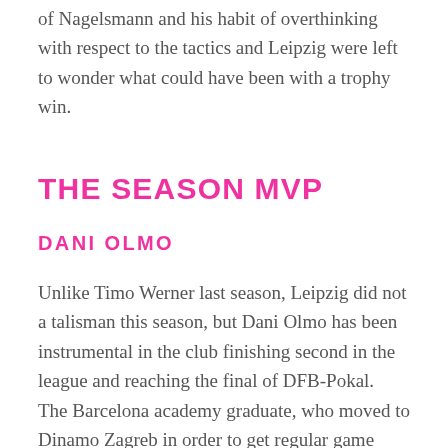of Nagelsmann and his habit of overthinking with respect to the tactics and Leipzig were left to wonder what could have been with a trophy win.
THE SEASON MVP
DANI OLMO
Unlike Timo Werner last season, Leipzig did not a talisman this season, but Dani Olmo has been instrumental in the club finishing second in the league and reaching the final of DFB-Pokal.
The Barcelona academy graduate, who moved to Dinamo Zagreb in order to get regular game